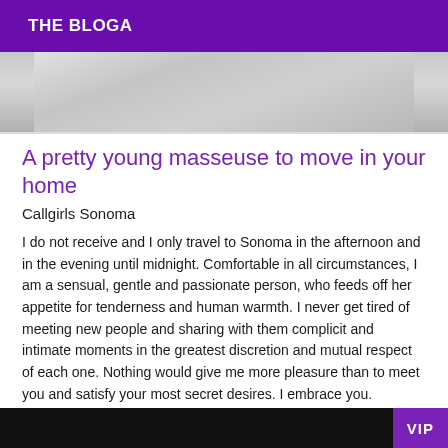THE BLOGA
[Figure (photo): Crumpled white fabric/sheets, partially visible at the top of the content area]
A pretty young masseuse to move in your home
Callgirls Sonoma
I do not receive and I only travel to Sonoma in the afternoon and in the evening until midnight. Comfortable in all circumstances, I am a sensual, gentle and passionate person, who feeds off her appetite for tenderness and human warmth. I never get tired of meeting new people and sharing with them complicit and intimate moments in the greatest discretion and mutual respect of each one. Nothing would give me more pleasure than to meet you and satisfy your most secret desires. I embrace you.
VIP